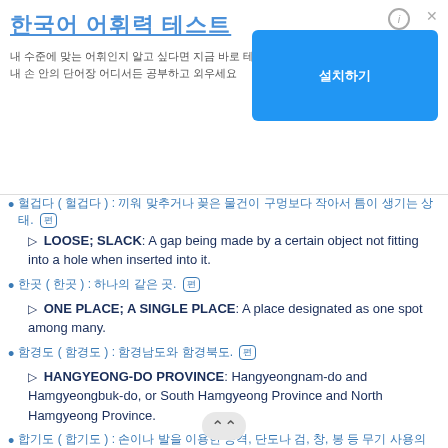[Figure (screenshot): Korean language learning app advertisement banner with Korean text title, description, and a blue button]
Korean entry 1 with badge [편]: LOOSE; SLACK: A gap being made by a certain object not fitting into a hole when inserted into it.
Korean entry 2 with badge [편]: ONE PLACE; A SINGLE PLACE: A place designated as one spot among many.
Korean entry 3 with badge [편]: HANGYEONG-DO PROVINCE: Hangyeongnam-do and Hamgyeongbuk-do, or South Hamgyeong Province and North Hamgyeong Province.
Korean entry 4 with badge [편]: HAPGIDO: A Korean martial art focusing on defense, which uses bare hands, or weapons like a dagger, sword, spear, etc.
Korean entry 5 with badge (partially visible)